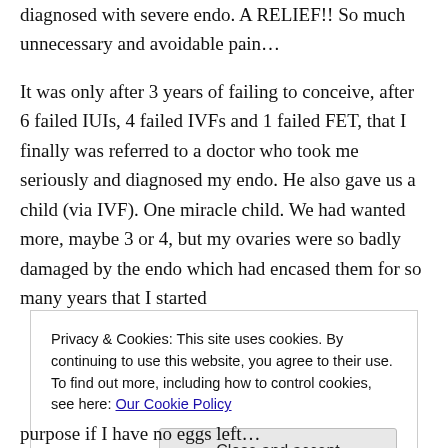diagnosed with severe endo. A RELIEF!! So much unnecessary and avoidable pain…

It was only after 3 years of failing to conceive, after 6 failed IUIs, 4 failed IVFs and 1 failed FET, that I finally was referred to a doctor who took me seriously and diagnosed my endo. He also gave us a child (via IVF). One miracle child. We had wanted more, maybe 3 or 4, but my ovaries were so badly damaged by the endo which had encased them for so many years that I started
Privacy & Cookies: This site uses cookies. By continuing to use this website, you agree to their use.
To find out more, including how to control cookies, see here: Our Cookie Policy
purpose if I have no eggs left…